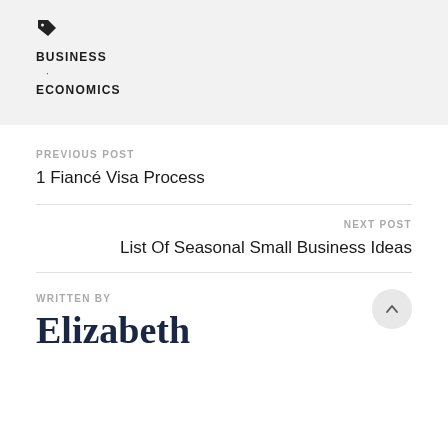[Figure (other): Tag/label icon]
BUSINESS
·
ECONOMICS
PREVIOUS POST
1 Fiancé Visa Process
NEXT POST
List Of Seasonal Small Business Ideas
WRITTEN BY
Elizabeth